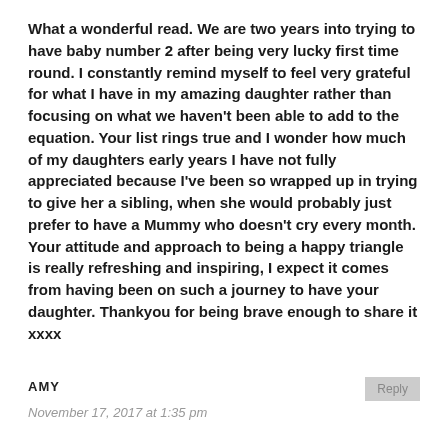What a wonderful read. We are two years into trying to have baby number 2 after being very lucky first time round. I constantly remind myself to feel very grateful for what I have in my amazing daughter rather than focusing on what we haven't been able to add to the equation. Your list rings true and I wonder how much of my daughters early years I have not fully appreciated because I've been so wrapped up in trying to give her a sibling, when she would probably just prefer to have a Mummy who doesn't cry every month.
Your attitude and approach to being a happy triangle is really refreshing and inspiring, I expect it comes from having been on such a journey to have your daughter. Thankyou for being brave enough to share it xxxx
AMY
November 17, 2017 at 1:35 pm